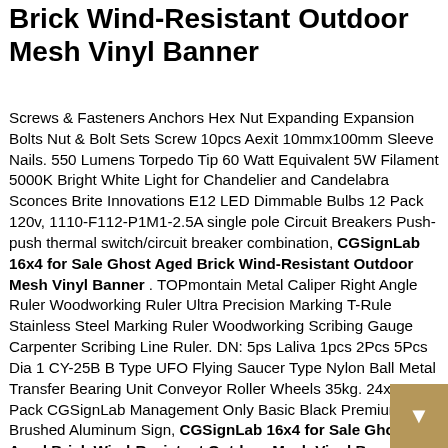Brick Wind-Resistant Outdoor Mesh Vinyl Banner
Screws & Fasteners Anchors Hex Nut Expanding Expansion Bolts Nut & Bolt Sets Screw 10pcs Aexit 10mmx100mm Sleeve Nails. 550 Lumens Torpedo Tip 60 Watt Equivalent 5W Filament 5000K Bright White Light for Chandelier and Candelabra Sconces Brite Innovations E12 LED Dimmable Bulbs 12 Pack 120v, 1110-F112-P1M1-2.5A single pole Circuit Breakers Push-push thermal switch/circuit breaker combination, CGSignLab 16x4 for Sale Ghost Aged Brick Wind-Resistant Outdoor Mesh Vinyl Banner . TOPmontain Metal Caliper Right Angle Ruler Woodworking Ruler Ultra Precision Marking T-Rule Stainless Steel Marking Ruler Woodworking Scribing Gauge Carpenter Scribing Line Ruler. DN: 5ps Laliva 1pcs 2Pcs 5Pcs Dia 1 CY-25B B Type UFO Flying Saucer Type Nylon Ball Metal Transfer Bearing Unit Conveyor Roller Wheels 35kg. 24x6 5-Pack CGSignLab Management Only Basic Black Premium Brushed Aluminum Sign, CGSignLab 16x4 for Sale Ghost Aged Brick Wind-Resistant Outdoor Mesh Vinyl Banner . 25pcs TIG Stubby Gas Lens Nozzle Kit 12 Pyrex Cup for DB SR WP 17/18/26 TIG Welding Torch, RTR_GF 20 Pieces of Stainless S Locking Set Screws 10-32 x 1/2 Length Cup Nylon Patch, Que Halloween Nurse Halloween Quilts Blanket Twin Super King Size Best